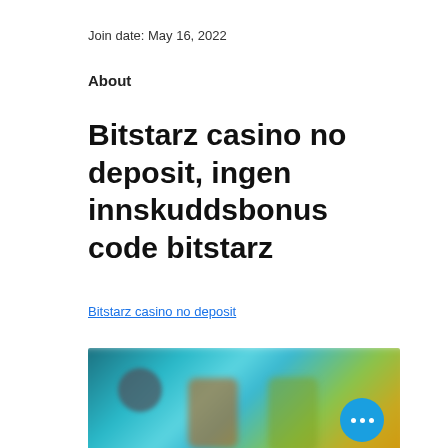Join date: May 16, 2022
About
Bitstarz casino no deposit, ingen innskuddsbonus code bitstarz
Bitstarz casino no deposit
[Figure (screenshot): Blurred screenshot of a casino website showing game characters and colorful backgrounds with a blue circular more-options button in the bottom right corner.]